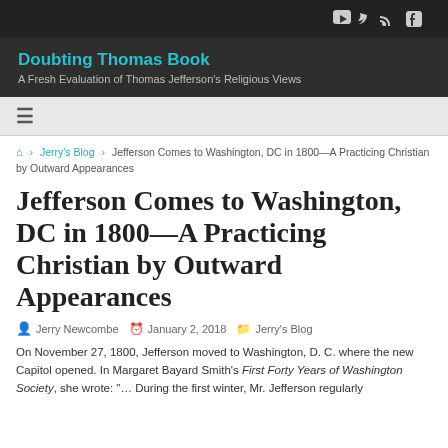Doubting Thomas Book — A Fresh Evaluation of Thomas Jefferson's Religious Views
≡ (hamburger menu)
⌂ › Jerry's Blog › Jefferson Comes to Washington, DC in 1800—A Practicing Christian by Outward Appearances
Jefferson Comes to Washington, DC in 1800—A Practicing Christian by Outward Appearances
Jerry Newcombe   January 2, 2018   Jerry's Blog
On November 27, 1800, Jefferson moved to Washington, D. C. where the new Capitol opened. In Margaret Bayard Smith's First Forty Years of Washington Society, she wrote: "… During the first winter, Mr. Jefferson regularly